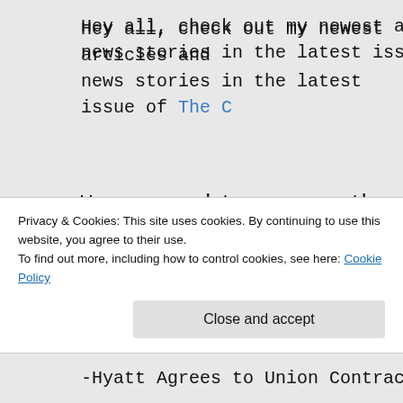Hey all, check out my newest articles and news stories in the latest issue of The C…
We are proud to announce the release of [D…] a Newsletter of Mass. Struggles. View it Issue 3
Inside this issue:
-Somerville Passes Wage Theft Ordinance
-Bostonians Vent Anger at Martin's Death,
Privacy & Cookies: This site uses cookies. By continuing to use this website, you agree to their use. To find out more, including how to control cookies, see here: Cookie Policy
-Hyatt Agrees to Union Contract for Worke…